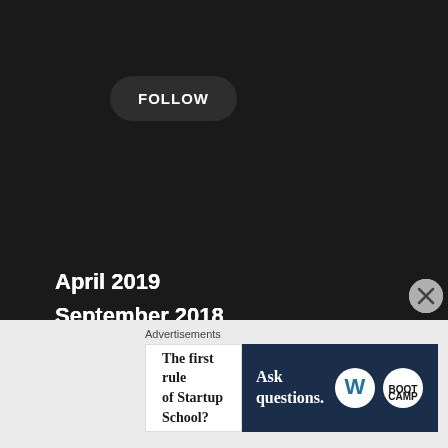FOLLOW
ARCHIVES
April 2019
September 2018
November 2017
October 2017
August 2017
June 2017
May 2017
Advertisements
The first rule of Startup School?
Ask questions.